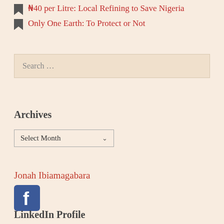₦40 per Litre: Local Refining to Save Nigeria
Only One Earth: To Protect or Not
Search ...
Archives
Select Month
Jonah Ibiamagabara
[Figure (logo): Facebook logo icon — blue square with white letter f]
LinkedIn Profile